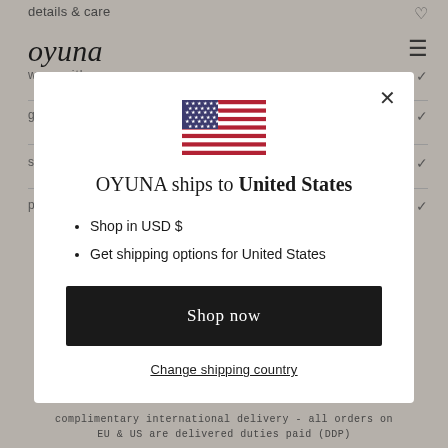details & care
oyuna
worn with
[Figure (illustration): US flag SVG illustration shown in modal dialog]
OYUNA ships to United States
Shop in USD $
Get shipping options for United States
Shop now
Change shipping country
complimentary international delivery - all orders on EU & US are delivered duties paid (DDP)